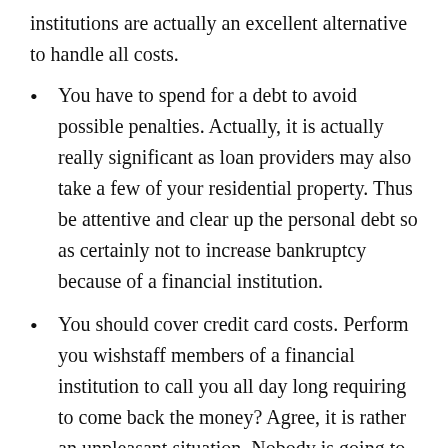institutions are actually an excellent alternative to handle all costs.
You have to spend for a debt to avoid possible penalties. Actually, it is actually really significant as loan providers may also take a few of your residential property. Thus be attentive and clear up the personal debt so as certainly not to increase bankruptcy because of a financial institution.
You should cover credit card costs. Perform you wishstaff members of a financial institution to call you all day long requiring to come back the money? Agree, it is rather an unpleasant situation. Nobody is going to rejoice to take care of collection agencies. A professional credit history service can easily aid to prevent this terrible probability.